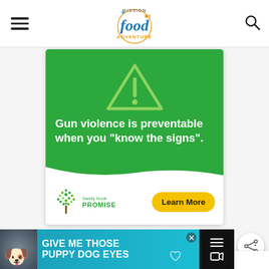[Figure (logo): Mission Food Adventure logo - circular logo with an airplane and ticket graphic]
[Figure (infographic): Sandy Hook Promise advertisement. Green background with warning triangle exclamation icon. Text: 'Gun violence is preventable when you "know the signs".' Bottom white section with Sandy Hook Promise logo and 'Learn More' yellow button.]
[Figure (screenshot): Share button icon - circular white button with share symbol]
[Figure (screenshot): What's Next widget showing: 'WHAT'S NEXT →' label in blue, 'The Best Homemade...' title, with a food thumbnail image]
[Figure (infographic): Bottom banner advertisement in teal/cyan color: 'GIVE ME THOSE PUPPY DOG EYES' with dog photo on left side and close button. Right side dark overlay with mute icons.]